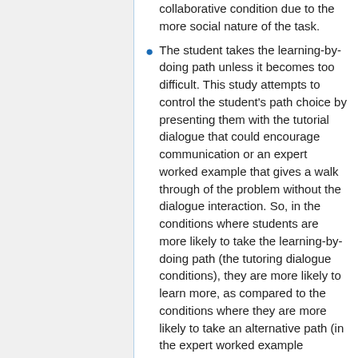collaborative condition due to the more social nature of the task.
The student takes the learning-by-doing path unless it becomes too difficult. This study attempts to control the student's path choice by presenting them with the tutorial dialogue that could encourage communication or an expert worked example that gives a walk through of the problem without the dialogue interaction. So, in the conditions where students are more likely to take the learning-by-doing path (the tutoring dialogue conditions), they are more likely to learn more, as compared to the conditions where they are more likely to take an alternative path (in the expert worked example conditions).